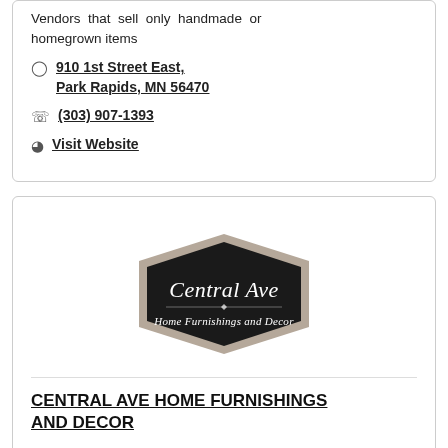Vendors that sell only handmade or homegrown items
910 1st Street East, Park Rapids, MN 56470
(303) 907-1393
Visit Website
[Figure (logo): Central Ave Home Furnishings and Decor logo: a black hexagonal badge with white script text 'Central Ave' and smaller text 'Home Furnishings and Decor', outlined in tan/beige]
CENTRAL AVE HOME FURNISHINGS AND DECOR
Central Ave Home Furnishings and Decor of